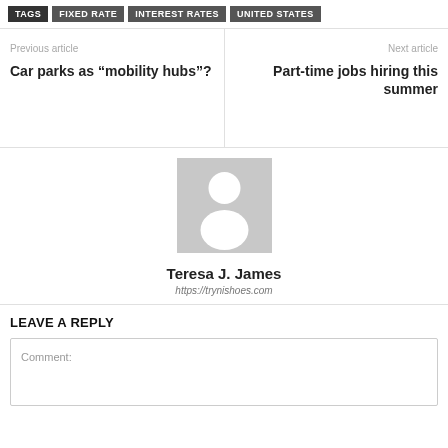TAGS  FIXED RATE  INTEREST RATES  UNITED STATES
Previous article
Car parks as “mobility hubs”?
Next article
Part-time jobs hiring this summer
[Figure (photo): Default avatar placeholder image - grey square with white silhouette of a person]
Teresa J. James
https://trynishoes.com
LEAVE A REPLY
Comment: